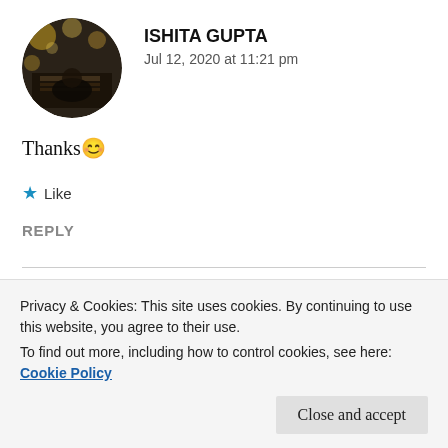[Figure (photo): Circular avatar photo of Ishita Gupta showing a blurred bokeh background with a book and warm lights]
ISHITA GUPTA
Jul 12, 2020 at 11:21 pm
Thanks 😊
⭐ Like
REPLY
[Figure (photo): Circular avatar photo of Tarushi Parashar showing a dark brown wooden texture]
TARUSHI PARASHAR
Privacy & Cookies: This site uses cookies. By continuing to use this website, you agree to their use.
To find out more, including how to control cookies, see here: Cookie Policy
Close and accept